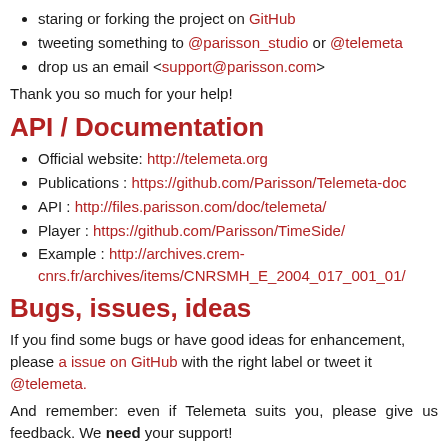staring or forking the project on GitHub
tweeting something to @parisson_studio or @telemeta
drop us an email <support@parisson.com>
Thank you so much for your help!
API / Documentation
Official website: http://telemeta.org
Publications : https://github.com/Parisson/Telemeta-doc
API : http://files.parisson.com/doc/telemeta/
Player : https://github.com/Parisson/TimeSide/
Example : http://archives.crem-cnrs.fr/archives/items/CNRSMH_E_2004_017_001_01/
Bugs, issues, ideas
If you find some bugs or have good ideas for enhancement, please a issue on GitHub with the right label or tweet it @telemeta.
And remember: even if Telemeta suits you, please give us feedback. We need your support!
License
This program is free software: you can redistribute it and/or mo under the terms of the GNU Affero General Public License as pub by the Free Software Foundation, either version 3 of the License